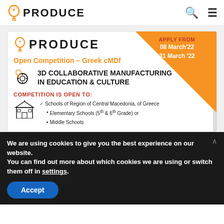PRODUCE
[Figure (infographic): PRODUCE Open Competition – Greek cMDf flyer. 3D Collaborative Manufacturing in Education & Culture. Apply from 08 March'22 – 31 March'22. Competition is open to Schools of Region of Central Macedonia, of Greece: Elementary Schools (5th & 6th Grade) or Middle Schools.]
We are using cookies to give you the best experience on our website.
You can find out more about which cookies we are using or switch them off in settings.
Accept